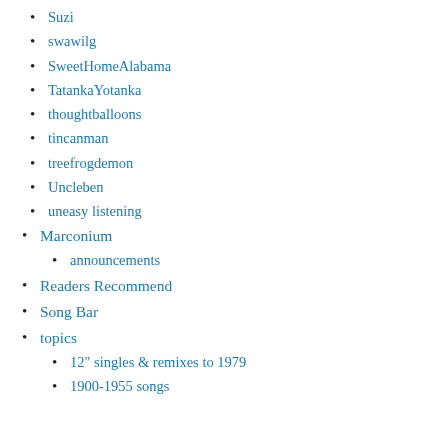Suzi
swawilg
SweetHomeAlabama
TatankaYotanka
thoughtballoons
tincanman
treefrogdemon
Uncleben
uneasy listening
Marconium
announcements
Readers Recommend
Song Bar
topics
12" singles & remixes to 1979
1900-1955 songs